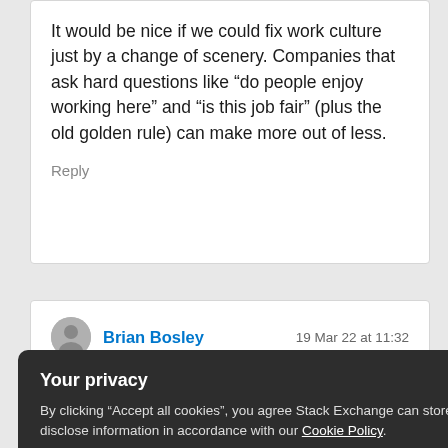It would be nice if we could fix work culture just by a change of scenery. Companies that ask hard questions like “do people enjoy working here” and “is this job fair” (plus the old golden rule) can make more out of less.
Reply
Brian Bosley    19 Mar 22 at 11:32
[Figure (other): Cookie consent privacy dialog overlay with dark background. Title: 'Your privacy'. Body text: 'By clicking "Accept all cookies", you agree Stack Exchange can store cookies on your device and disclose information in accordance with our Cookie Policy.' Two buttons: 'Accept all cookies' (blue) and 'Customize settings' (gray).]